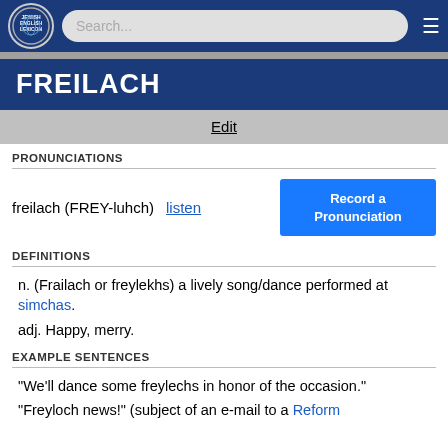Jewish English Lexicon — Search bar — Menu
FREILACH
Edit
PRONUNCIATIONS
freilach (FREY-luhch)   listen   Record a Pronunciation
DEFINITIONS
n. (Frailach or freylekhs) a lively song/dance performed at simchas.
adj. Happy, merry.
EXAMPLE SENTENCES
"We'll dance some freylechs in honor of the occasion."
"Freyloch news!" (subject of an e-mail to a Reform